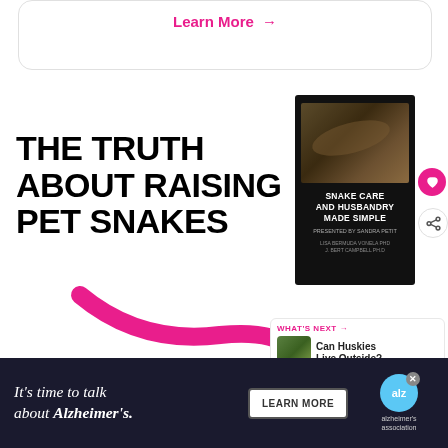Learn More →
THE TRUTH ABOUT RAISING PET SNAKES
[Figure (illustration): Book cover for 'Snake Care and Husbandry Made Simple' showing a snake on a dark background]
[Figure (illustration): Large pink arrow pointing right toward the book]
WHAT'S NEXT → Can Huskies Live Outside?
More Info
It's time to talk about Alzheimer's.
LEARN MORE